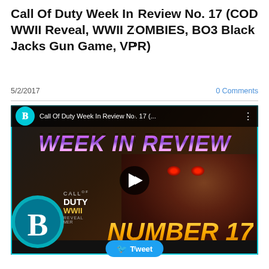Call Of Duty Week In Review No. 17 (COD WWII Reveal, WWII ZOMBIES, BO3 Black Jacks Gun Game, VPR)
5/2/2017
0 Comments
[Figure (screenshot): YouTube video thumbnail for Call Of Duty Week In Review No. 17 showing a zombie face, WEEK IN REVIEW text in purple gradient, NUMBER 17 in gold, and a channel logo B in cyan. Play button visible in center.]
Tweet